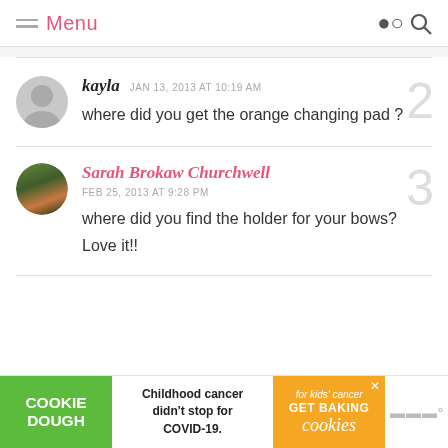Menu
kayla JAN 13, 2013 AT 10:19 AM
where did you get the orange changing pad ?
Sarah Brokaw Churchwell FEB 25, 2013 AT 9:28 PM
where did you find the holder for your bows? Love it!!
[Figure (infographic): Cookie Dough advertisement banner: Childhood cancer didn't stop for COVID-19. GET BAKING]